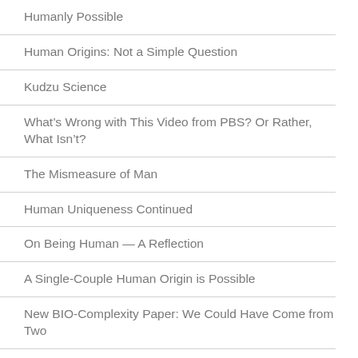Humanly Possible
Human Origins: Not a Simple Question
Kudzu Science
What's Wrong with This Video from PBS? Or Rather, What Isn't?
The Mismeasure of Man
Human Uniqueness Continued
On Being Human — A Reflection
A Single-Couple Human Origin is Possible
New BIO-Complexity Paper: We Could Have Come from Two